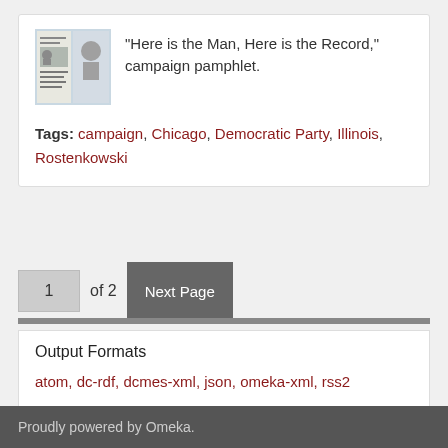[Figure (photo): Thumbnail image of a campaign pamphlet showing a portrait and other images]
"Here is the Man, Here is the Record," campaign pamphlet.
Tags: campaign, Chicago, Democratic Party, Illinois, Rostenkowski
1 of 2 Next Page
Output Formats
atom, dc-rdf, dcmes-xml, json, omeka-xml, rss2
Proudly powered by Omeka.